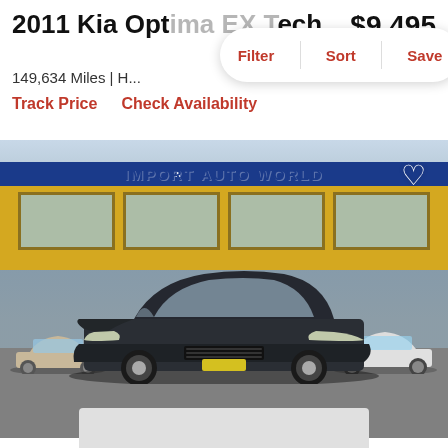2011 Kia Optima EX Tech
$9,495
149,634 Miles | H...
est. $137/mo
Filter  Sort  Save
Track Price   Check Availability
[Figure (photo): Photo of a dark gray 2011 Kia Optima sedan parked in front of Import Auto World dealership, a yellow building. Other vehicles visible in background including a beige sedan on the left and a white sedan on the right. Heart/save icon in upper right corner of photo.]
[Figure (map): Partially visible map or location placeholder at bottom of page]